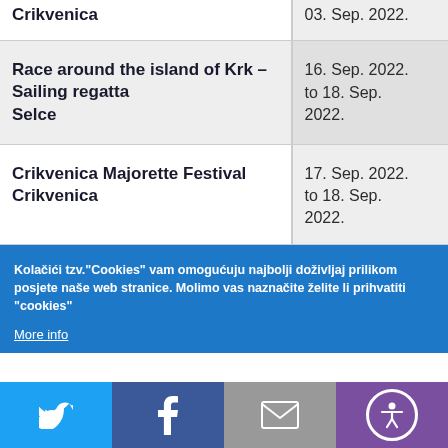| Event | Date |
| --- | --- |
| Crikvenica | 03. Sep. 2022. |
| Race around the island of Krk – Sailing regatta
Selce | 16. Sep. 2022. to 18. Sep. 2022. |
| Crikvenica Majorette Festival
Crikvenica | 17. Sep. 2022. to 18. Sep. 2022. |
Kolačići tzv."Cookies" vam omogućuju najbolji doživljaj prilikom posjete naše web stranice. Molimo vas naznačite želite li prihvatiti "cookies"
More info
[Figure (infographic): Social media bar with Twitter, Facebook, email, and accessibility icons]